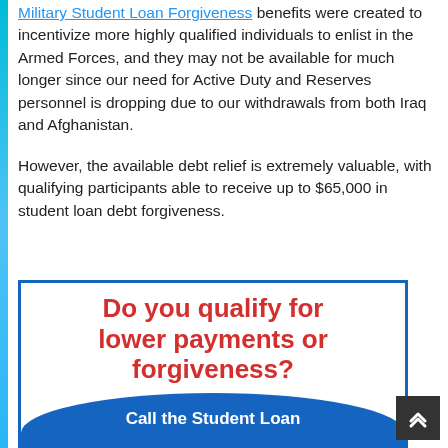Military Student Loan Forgiveness benefits were created to incentivize more highly qualified individuals to enlist in the Armed Forces, and they may not be available for much longer since our need for Active Duty and Reserves personnel is dropping due to our withdrawals from both Iraq and Afghanistan.
However, the available debt relief is extremely valuable, with qualifying participants able to receive up to $65,000 in student loan debt forgiveness.
[Figure (infographic): Advertisement box with blue border. Large red bold text reads 'Do you qualify for lower payments or forgiveness?' with a blue rounded banner at the bottom reading 'Call the Student Loan']